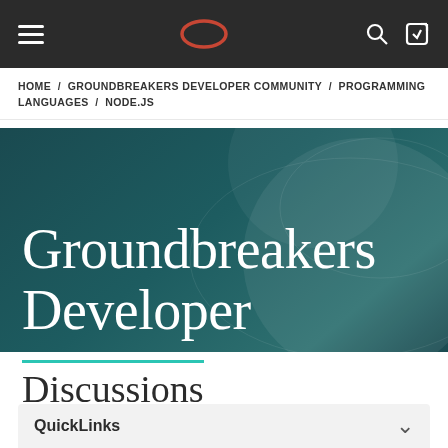Navigation bar with hamburger menu, Oracle logo, search icon, login icon
HOME / GROUNDBREAKERS DEVELOPER COMMUNITY / PROGRAMMING LANGUAGES / NODE.JS
Groundbreakers Developer
Discussions
QuickLinks